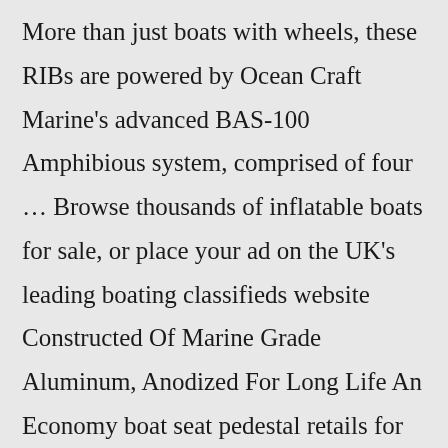More than just boats with wheels, these RIBs are powered by Ocean Craft Marine's advanced BAS-100 Amphibious system, comprised of four … Browse thousands of inflatable boats for sale, or place your ad on the UK's leading boating classifieds website Constructed Of Marine Grade Aluminum, Anodized For Long Life An Economy boat seat pedestal retails for around $12, a swivel base costs around $10, and fishing … View